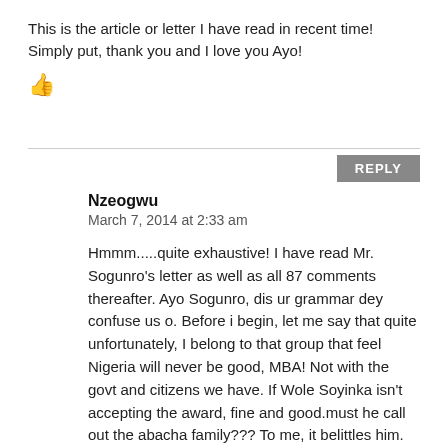This is the article or letter I have read in recent time! Simply put, thank you and I love you Ayo!
👍
REPLY
Nzeogwu
March 7, 2014 at 2:33 am
Hmmm.....quite exhaustive! I have read Mr. Sogunro's letter as well as all 87 comments thereafter. Ayo Sogunro, dis ur grammar dey confuse us o. Before i begin, let me say that quite unfortunately, I belong to that group that feel Nigeria will never be good, MBA! Not with the govt and citizens we have. If Wole Soyinka isn't accepting the award, fine and good.must he call out the abacha family??? To me, it belittles him. For a good read, Sogunro has quite sensationalized his letter. U were 9yeras old and used abacha stove cuz of lack of kerosene. Na only for abacha time kerosene scarce???